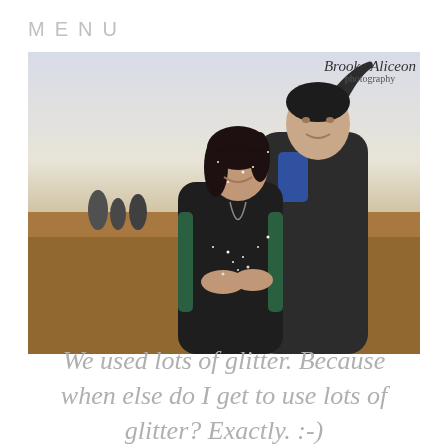MENU
[Figure (photo): A couple outdoors in a field. A woman with dark hair smiles looking down at her cupped hands. A man beside her raises one arm up high. He wears a dark jacket with a blue pattern. She wears a dark jacket with green stripes. Glitter is falling. Background is a blurred open field with a pale sky.]
Brooke Aliceon photography
We used lots of glitter. Because when else do I get to use lots of glitter? Exactly. :-)